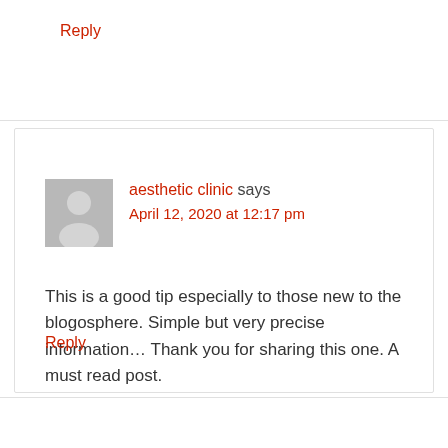Reply
aesthetic clinic says
April 12, 2020 at 12:17 pm
This is a good tip especially to those new to the blogosphere. Simple but very precise information… Thank you for sharing this one. A must read post.
Reply